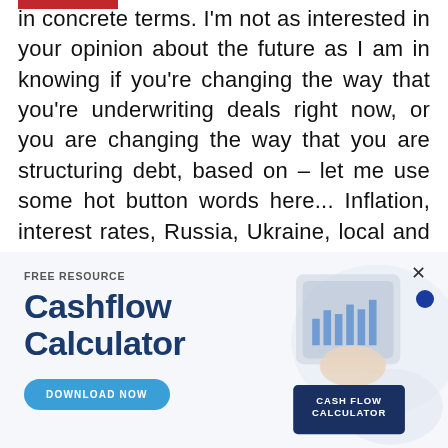in concrete terms. I'm not as interested in your opinion about the future as I am in knowing if you're changing the way that you're underwriting deals right now, or you are changing the way that you are structuring debt, based on – let me use some hot button words here... Inflation, interest rates, Russia, Ukraine, local and global politics, supply chain issues. All the things that we're dealing with in the
[Figure (infographic): Advertisement banner for a Free Resource: Cashflow Calculator. Left side shows 'FREE RESOURCE' label, large bold 'Cashflow Calculator' title in dark blue, and a 'DOWNLOAD NOW' button in light blue. Right side shows an image of hands using a tablet/calculator with a dark blue card reading 'CASH FLOW CALCULATOR'. There is an X close button and a blue dot in the top right.]